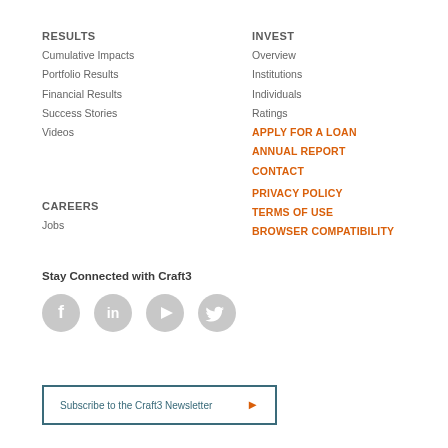RESULTS
Cumulative Impacts
Portfolio Results
Financial Results
Success Stories
Videos
INVEST
Overview
Institutions
Individuals
Ratings
APPLY FOR A LOAN
ANNUAL REPORT
CONTACT
PRIVACY POLICY
TERMS OF USE
BROWSER COMPATIBILITY
CAREERS
Jobs
Stay Connected with Craft3
[Figure (other): Social media icons: Facebook, LinkedIn, YouTube, Twitter (grey circles)]
Subscribe to the Craft3 Newsletter ▶